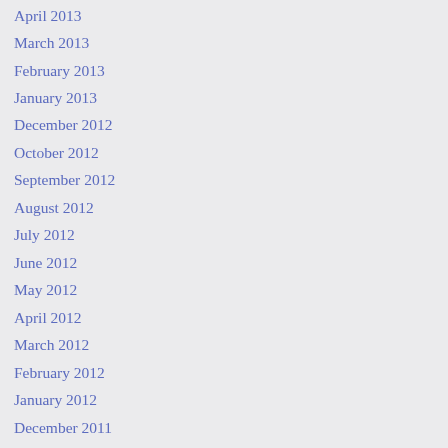April 2013
March 2013
February 2013
January 2013
December 2012
October 2012
September 2012
August 2012
July 2012
June 2012
May 2012
April 2012
March 2012
February 2012
January 2012
December 2011
November 2011
October 2011
September 2011